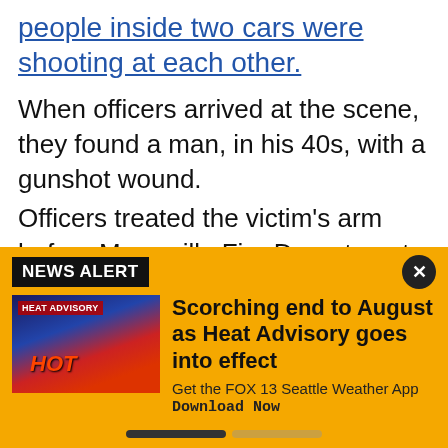people inside two cars were shooting at each other.
When officers arrived at the scene, they found a man, in his 40s, with a gunshot wound.
Officers treated the victim's arm before Marysville Fire Department medics arrived. The victim survived his injuries.
The suspect was arrested on Oct. 27 in Everett. Police say he is well-known to law enforcement in Snohomish Co...
[Figure (infographic): Yellow news alert banner with thumbnail image showing a heat advisory weather map, headline 'Scorching end to August as Heat Advisory goes into effect', subtext 'Get the FOX 13 Seattle Weather App Download Now', and a progress bar at the bottom.]